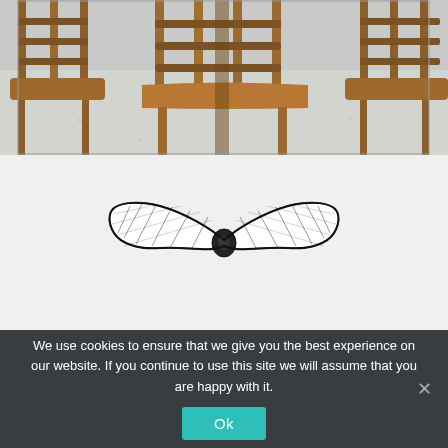[Figure (photo): Close-up photograph of wooden bar stools/chairs with horizontal slat backs, warm brown wood finish, on a speckled light-colored floor]
[Figure (illustration): Hand-drawn sketch illustration of a black bow tie in cross-hatching/etching style on a light gray background]
We use cookies to ensure that we give you the best experience on our website. If you continue to use this site we will assume that you are happy with it.